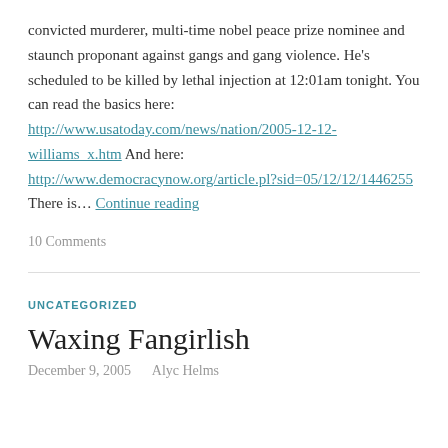convicted murderer, multi-time nobel peace prize nominee and staunch proponant against gangs and gang violence. He's scheduled to be killed by lethal injection at 12:01am tonight. You can read the basics here: http://www.usatoday.com/news/nation/2005-12-12-williams_x.htm And here: http://www.democracynow.org/article.pl?sid=05/12/12/1446255 There is… Continue reading
10 Comments
UNCATEGORIZED
Waxing Fangirlish
December 9, 2005   Alyc Helms